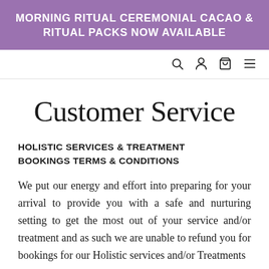MORNING RITUAL CEREMONIAL CACAO & RITUAL PACKS NOW AVAILABLE
Customer Service
HOLISTIC SERVICES & TREATMENT BOOKINGS TERMS & CONDITIONS
We put our energy and effort into preparing for your arrival to provide you with a safe and nurturing setting to get the most out of your service and/or treatment and as such we are unable to refund you for bookings for our Holistic services and/or Treatments